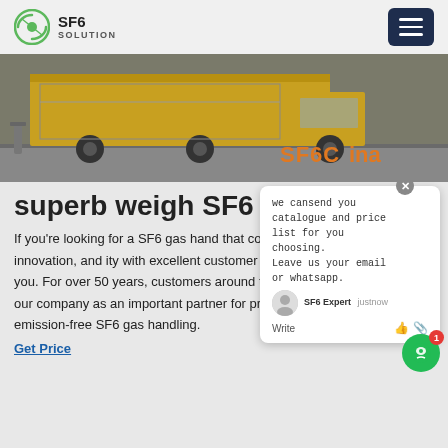SF6 SOLUTION
[Figure (photo): Yellow truck with SF6 equipment parked on a road. Text overlay reads 'SF6China' in orange.]
superb weigh SF6 tro
If you're looking for a SF6 gas hand that combines quality, innovation, and ity with excellent customer service, the ny is for you. For over 50 years, customers around the world have valued our company as an important partner for professional and emission-free SF6 gas handling.
Get Price